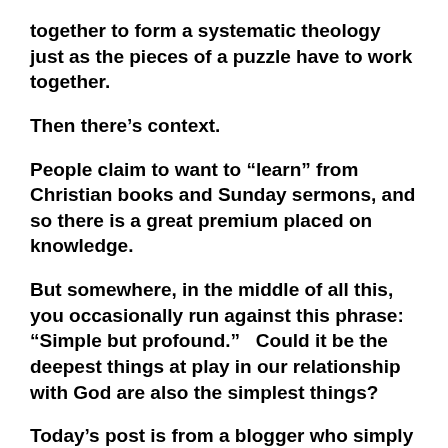together to form a systematic theology just as the pieces of a puzzle have to work together.
Then there’s context.
People claim to want to “learn” from Christian books and Sunday sermons, and so there is a great premium placed on knowledge.
But somewhere, in the middle of all this, you occasionally run against this phrase:  “Simple but profound.”   Could it be the deepest things at play in our relationship with God are also the simplest things?
Today’s post is from a blogger who simply calls himself “A God Man.”   I’ve reproduced this leaving some links to his other articles intact.   The Bible